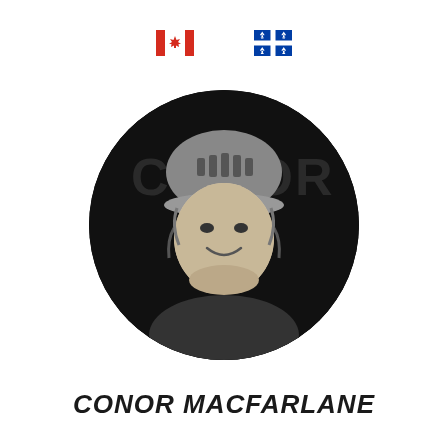[Figure (photo): Canadian flag emoji and Quebec flag emoji displayed side by side at the top of the page]
[Figure (photo): Circular black and white portrait photo of Conor Macfarlane wearing a cycling helmet, smiling, with a dark background showing partial text 'CONOR']
CONOR MACFARLANE